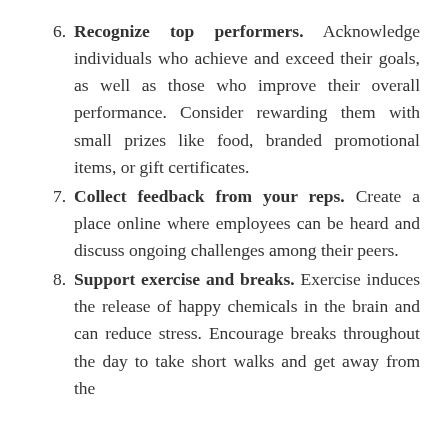6. Recognize top performers. Acknowledge individuals who achieve and exceed their goals, as well as those who improve their overall performance. Consider rewarding them with small prizes like food, branded promotional items, or gift certificates.
7. Collect feedback from your reps. Create a place online where employees can be heard and discuss ongoing challenges among their peers.
8. Support exercise and breaks. Exercise induces the release of happy chemicals in the brain and can reduce stress. Encourage breaks throughout the day to take short walks and get away from the